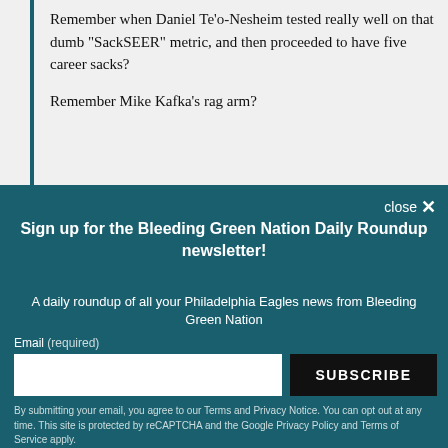Remember when Daniel Te'o-Nesheim tested really well on that dumb "SackSEER" metric, and then proceeded to have five career sacks?
Remember Mike Kafka's rag arm?
close ×
Sign up for the Bleeding Green Nation Daily Roundup newsletter!
A daily roundup of all your Philadelphia Eagles news from Bleeding Green Nation
Email (required)
SUBSCRIBE
By submitting your email, you agree to our Terms and Privacy Notice. You can opt out at any time. This site is protected by reCAPTCHA and the Google Privacy Policy and Terms of Service apply.